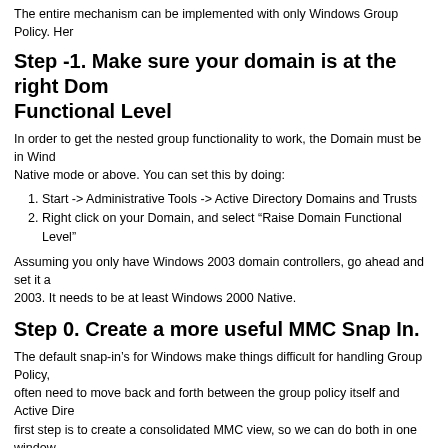The entire mechanism can be implemented with only Windows Group Policy. Her
Step -1. Make sure your domain is at the right Domain Functional Level
In order to get the nested group functionality to work, the Domain must be in Windows Native mode or above. You can set this by doing:
1. Start -> Administrative Tools -> Active Directory Domains and Trusts
2. Right click on your Domain, and select “Raise Domain Functional Level”
Assuming you only have Windows 2003 domain controllers, go ahead and set it a 2003. It needs to be at least Windows 2000 Native.
Step 0. Create a more useful MMC Snap In.
The default snap-in’s for Windows make things difficult for handling Group Policy, often need to move back and forth between the group policy itself and Active Dire first step is to create a consolidated MMC view, so we can do both in one window.
1. Start -> Run -> mmc
2. File -> Add/Remove Snap-in
3. Click “Add”
4. Select “Active Directory Users and Computers”, click “Add”
5. Select “Group Poloci Management”, click “Add”
6. Click “Close”, then click “OK”
7. Expand the “Console Root” mini-window.
8. Select “File” -> “Save”, Click your Desktop, and call it GPMCAD